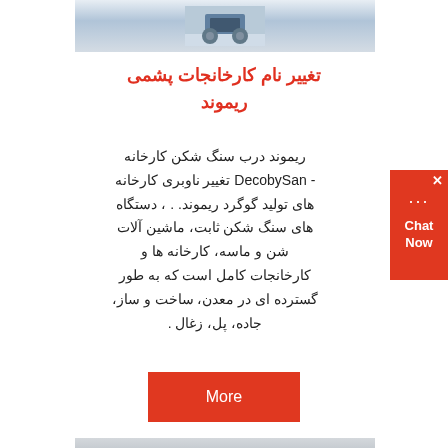[Figure (photo): Top image showing heavy machinery or stone crusher in snowy/winter setting]
تغییر نام کارخانجات پشمی ریموند
ریموند درب سنگ شکن کارخانه - DecobySan تغییر ناوبری کارخانه های تولید گوگرد ریموند. . ، دستگاه های سنگ شکن ثابت، ماشین آلات شن و ماسه، کارخانه ها و کارخانجات کامل است که به طور گسترده ای در معدن، ساخت و ساز، جاده، پل، زغال .
[Figure (infographic): Red More button / call to action]
[Figure (photo): Bottom image showing industrial machinery parts (gears or stone crusher components)]